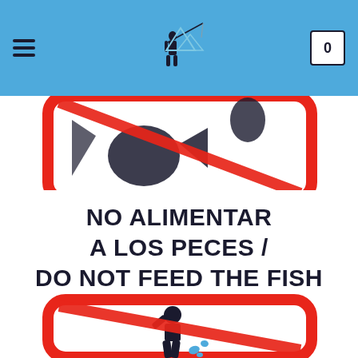Navigation header with hamburger menu, logo, and cart icon (0)
[Figure (photo): Two prohibition signs with red border and diagonal red line. Top sign (partially visible) shows a fish feeding prohibition. Middle sign text reads: NO ALIMENTAR A LOS PECES / DO NOT FEED THE FISH. Bottom sign shows a person feeding fish with prohibition symbol.]